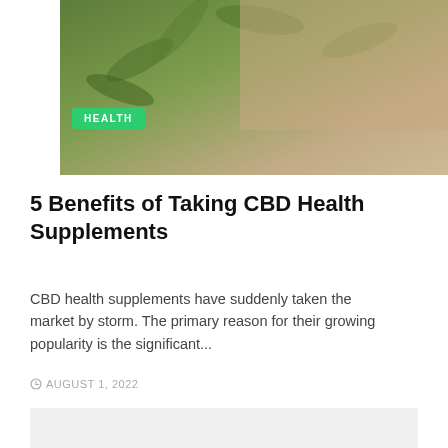[Figure (photo): Hands holding cannabis/hemp plant with green leaves, overlaid with a green HEALTH badge label]
5 Benefits of Taking CBD Health Supplements
CBD health supplements have suddenly taken the market by storm. The primary reason for their growing popularity is the significant...
AUGUST 1, 2022
[Figure (photo): Second article image placeholder, light gray background]